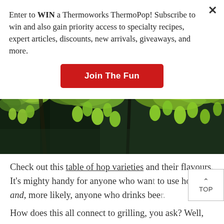Enter to WIN a Thermoworks ThermoPop! Subscribe to win and also gain priority access to specialty recipes, expert articles, discounts, new arrivals, giveaways, and more.
Join The Fun
[Figure (photo): Close-up photograph of green hop plants/cones hanging from branches against a dark background]
Check out this table of hop varieties and their flavours. It's mighty handy for anyone who want to use hops, and, more likely, anyone who drinks beer.
How does this all connect to grilling, you ask? Well,